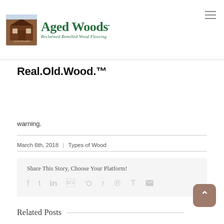Aged Woods – Reclaimed Remilled Wood Flooring
Real.Old.Wood.™
warning.
March 6th, 2018  |  Types of Wood
Share This Story, Choose Your Platform!
Related Posts